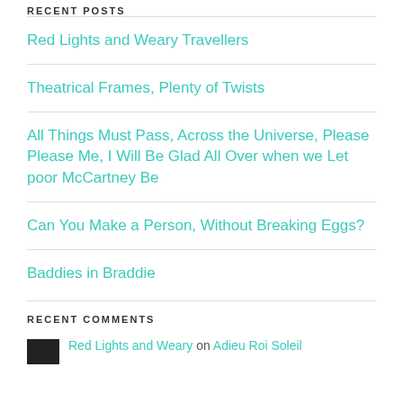RECENT POSTS
Red Lights and Weary Travellers
Theatrical Frames, Plenty of Twists
All Things Must Pass, Across the Universe, Please Please Me, I Will Be Glad All Over when we Let poor McCartney Be
Can You Make a Person, Without Breaking Eggs?
Baddies in Braddie
RECENT COMMENTS
Red Lights and Weary on Adieu Roi Soleil